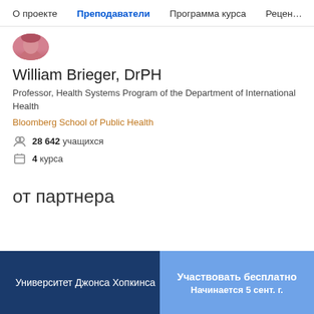О проекте  Преподаватели  Программа курса  Рецен…
[Figure (photo): Partial profile photo of the instructor, cropped circle showing top of head]
William Brieger, DrPH
Professor, Health Systems Program of the Department of International Health
Bloomberg School of Public Health
28 642 учащихся
4 курса
от партнера
Университет Джонса Хопкинса  |  Участвовать бесплатно  Начинается 5 сент. г.